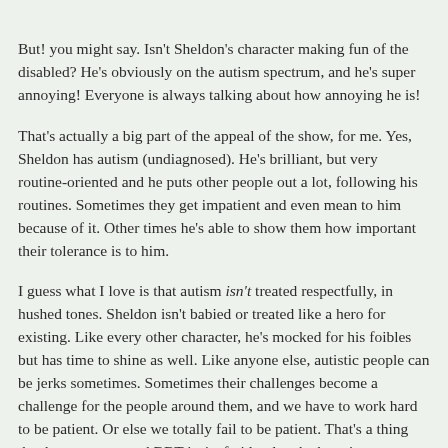But! you might say.  Isn't Sheldon's character making fun of the disabled?  He's obviously on the autism spectrum, and he's super annoying!  Everyone is always talking about how annoying he is!
That's actually a big part of the appeal of the show, for me.  Yes, Sheldon has autism (undiagnosed).  He's brilliant, but very routine-oriented and he puts other people out a lot, following his routines.  Sometimes they get impatient and even mean to him because of it.  Other times he's able to show them how important their tolerance is to him.
I guess what I love is that autism isn't treated respectfully, in hushed tones.  Sheldon isn't babied or treated like a hero for existing.  Like every other character, he's mocked for his foibles but has time to shine as well.  Like anyone else, autistic people can be jerks sometimes.  Sometimes their challenges become a challenge for the people around them, and we have to work hard to be patient.  Or else we totally fail to be patient.  That's a thing that happens too, and BBT isn't afraid to laugh about it.